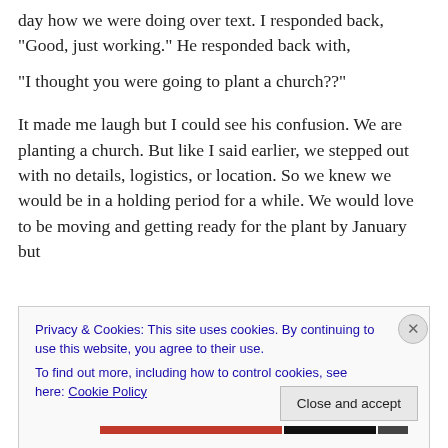day how we were doing over text. I responded back, “Good, just working.” He responded back with,
“I thought you were going to plant a church??”
It made me laugh but I could see his confusion. We are planting a church. But like I said earlier, we stepped out with no details, logistics, or location. So we knew we would be in a holding period for a while. We would love to be moving and getting ready for the plant by January but
Privacy & Cookies: This site uses cookies. By continuing to use this website, you agree to their use.
To find out more, including how to control cookies, see here: Cookie Policy
Close and accept